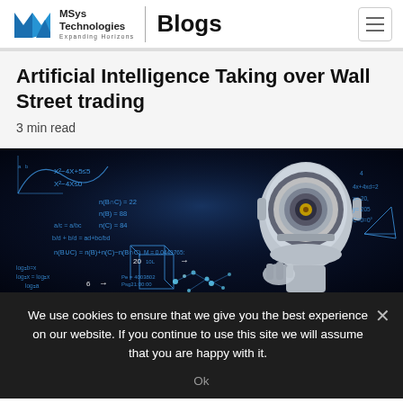MSys Technologies | Blogs
Artificial Intelligence Taking over Wall Street trading
3 min read
[Figure (photo): AI robot humanoid head with mathematical equations and geometric diagrams on dark background, representing artificial intelligence and machine learning concepts.]
We use cookies to ensure that we give you the best experience on our website. If you continue to use this site we will assume that you are happy with it.
Ok